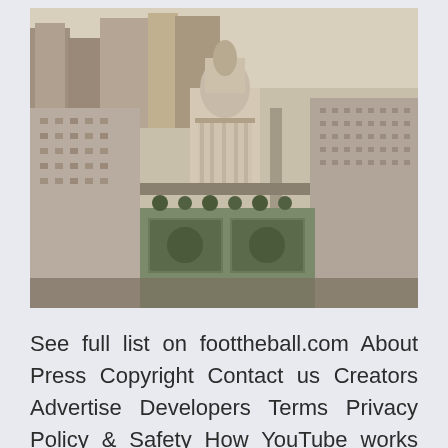[Figure (photo): Aerial black and white sepia-toned photograph of a city downtown area showing large buildings, a domed government building in the center, streets, parks with trees and rectangular garden plots in the foreground.]
See full list on foottheball.com About Press Copyright Contact us Creators Advertise Developers Terms Privacy Policy & Safety How YouTube works Test new features Press Copyright Contact us Creators UEFA Euro 2020: A look at the prime contenders for the trophy. The opening round of matches from June 11 to June 23 will feature some thrilling encounters such as England vs Croatia, France vs Scotland... Czech